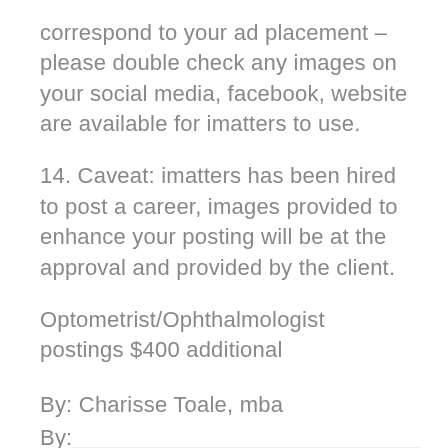correspond to your ad placement – please double check any images on your social media, facebook, website are available for imatters to use.
14. Caveat: imatters has been hired to post a career, images provided to enhance your posting will be at the approval and provided by the client.
Optometrist/Ophthalmologist postings $400 additional
By: Charisse Toale, mba
By:____________________________